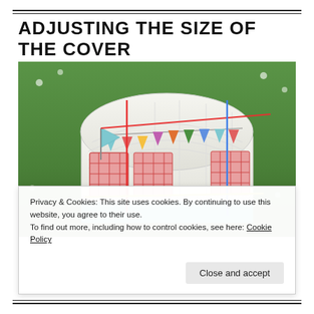ADJUSTING THE SIZE OF THE COVER
[Figure (photo): A quilted fabric cover shaped like a vintage caravan/camper, decorated with colorful bunting flags, placed on green grass. Overlaid with colored measurement lines: a red vertical line and red horizontal line on the left side, a blue vertical line on the right, and a yellow-green horizontal line near the bottom.]
Privacy & Cookies: This site uses cookies. By continuing to use this website, you agree to their use.
To find out more, including how to control cookies, see here: Cookie Policy
Close and accept